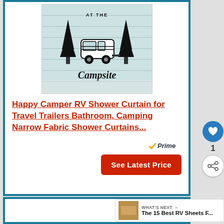[Figure (photo): Product photo of a shower curtain hung in a bathroom, showing a camping-themed design with 'Campsite' text, RV/camper trailer, pine trees on a wood plank background]
Happy Camper RV Shower Curtain for Travel Trailers Bathroom, Camping Narrow Fabric Shower Curtains...
[Figure (logo): Amazon Prime badge with orange checkmark and 'Prime' text in italic]
See Latest Price
1
WHAT'S NEXT → The 15 Best RV Sheets F...